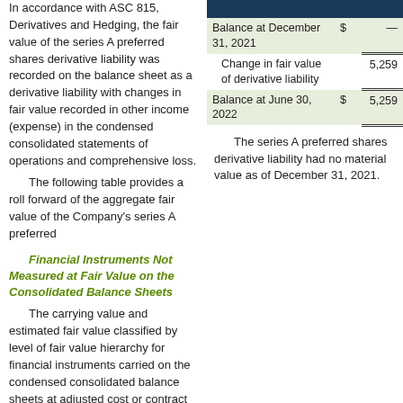Shares Forward Contract. In accordance with ASC 815, Derivatives and Hedging, the fair value of the series A preferred shares derivative liability was recorded on the balance sheet as a derivative liability with changes in fair value recorded in other income (expense) in the condensed consolidated statements of operations and comprehensive loss.
The following table provides a roll forward of the aggregate fair value of the Company's series A preferred
|  | $ |  |
| --- | --- | --- |
| Balance at December 31, 2021 | $ | — |
| Change in fair value of derivative liability |  | 5,259 |
| Balance at June 30, 2022 | $ | 5,259 |
The series A preferred shares derivative liability had no material value as of December 31, 2021.
Financial Instruments Not Measured at Fair Value on the Consolidated Balance Sheets
The carrying value and estimated fair value classified by level of fair value hierarchy for financial instruments carried on the condensed consolidated balance sheets at adjusted cost or contract value at June 30, 2022 and December 31, 2021, are as follows: